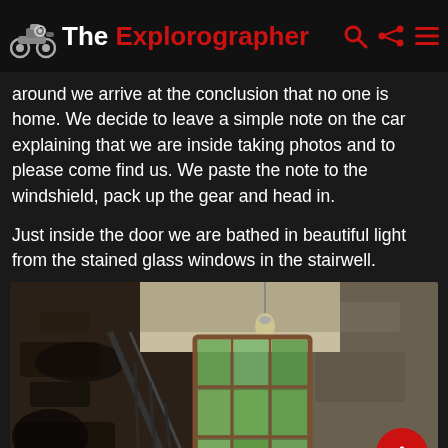The Explorographer
around we arrive at the conclusion that no one is home. We decide to leave a simple note on the car explaining that we are inside taking photos and to please come find us. We paste the note to the windshield, pack up the gear and head in.

Just inside the door we are bathed in beautiful light from the stained glass windows in the stairwell.
[Figure (photo): Interior photograph of an abandoned building stairwell with tall stained glass windows letting in natural light, peeling walls, and a hanging light bulb visible near the ceiling. The photo is taken from a low angle looking upward.]